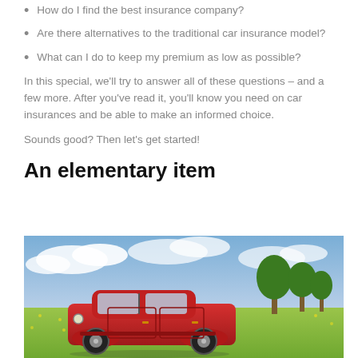How do I find the best insurance company?
Are there alternatives to the traditional car insurance model?
What can I do to keep my premium as low as possible?
In this special, we'll try to answer all of these questions – and a few more. After you've read it, you'll know you need on car insurances and be able to make an informed choice.
Sounds good? Then let's get started!
An elementary item
[Figure (photo): A vintage red car parked in a green field with yellow flowers and trees in the background under a cloudy sky.]